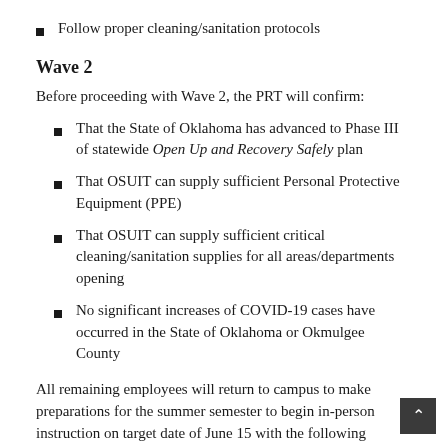Follow proper cleaning/sanitation protocols
Wave 2
Before proceeding with Wave 2, the PRT will confirm:
That the State of Oklahoma has advanced to Phase III of statewide Open Up and Recovery Safely plan
That OSUIT can supply sufficient Personal Protective Equipment (PPE)
That OSUIT can supply sufficient critical cleaning/sanitation supplies for all areas/departments opening
No significant increases of COVID-19 cases have occurred in the State of Oklahoma or Okmulgee County
All remaining employees will return to campus to make preparations for the summer semester to begin in-person instruction on target date of June 15 with the following